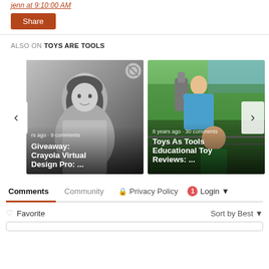jenn at 9:10:00 AM
Share
ALSO ON TOYS ARE TOOLS
[Figure (screenshot): Carousel with two cards: left card shows a grayscale 3D avatar of a girl with text 'Giveaway: Crayola Virtual Design Pro: ...' and meta '... rs ago · 9 comments'; right card shows a photo of a child using binoculars outdoors near water and grass with text 'Toys As Tools Educational Toy Reviews: ...' and meta '8 years ago · 30 comments'. Left and right navigation arrows visible.]
Comments
Community
Privacy Policy
1
Login
Favorite
Sort by Best